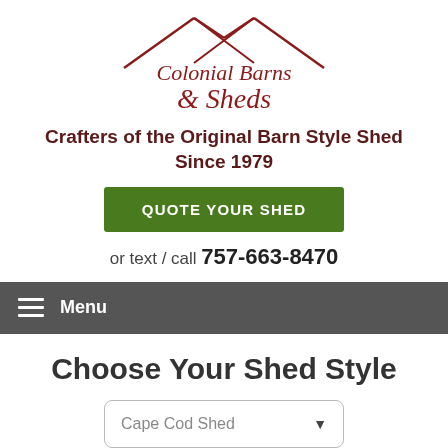[Figure (logo): Colonial Barns & Sheds logo with barn roof line graphic above script text]
Crafters of the Original Barn Style Shed Since 1979
QUOTE YOUR SHED
or text / call 757-663-8470
Menu
Choose Your Shed Style
Cape Cod Shed